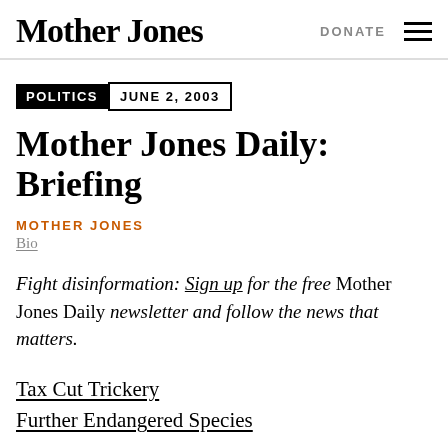Mother Jones | DONATE ☰
POLITICS  JUNE 2, 2003
Mother Jones Daily: Briefing
MOTHER JONES
Bio
Fight disinformation: Sign up for the free Mother Jones Daily newsletter and follow the news that matters.
Tax Cut Trickery
Further Endangered Species
POLITICS
Tax Cut Tri...